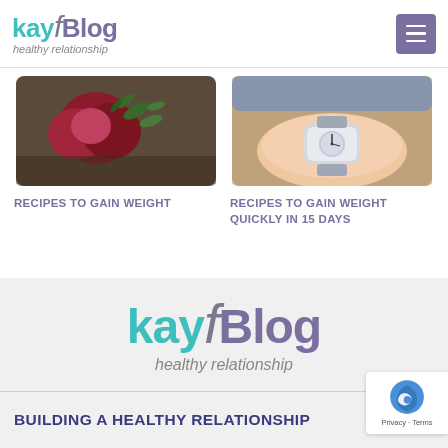kayf Blog — healthy relationship
[Figure (photo): Photo of red beet/pomegranate and herbs on dark wooden surface]
RECIPES TO GAIN WEIGHT
[Figure (photo): Photo of a person's wrist with a wristwatch, light skin, blue background]
RECIPES TO GAIN WEIGHT QUICKLY IN 15 DAYS
[Figure (logo): kayf Blog logo with text 'healthy relationship' — large centered version in footer section]
BUILDING A HEALTHY RELATIONSHIP